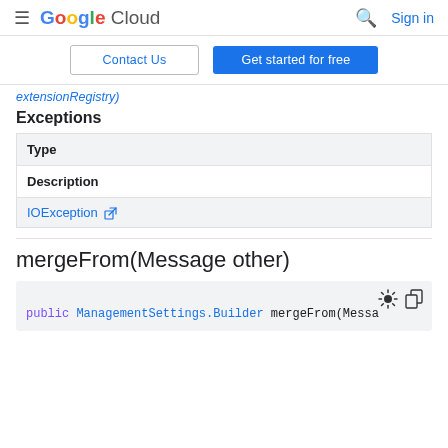Google Cloud — Contact Us | Get started for free
extensionRegistry)
Exceptions
| Type | Description |
| --- | --- |
| IOException [external link] |  |
mergeFrom(Message other)
public ManagementSettings.Builder mergeFrom(Messa